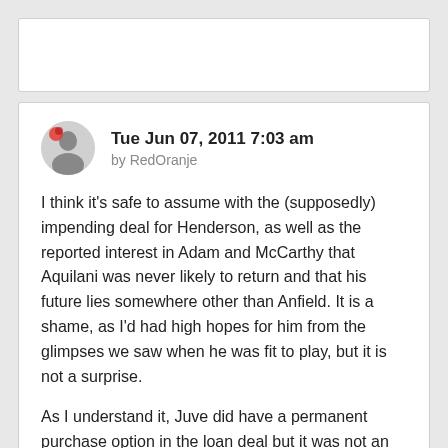Tue Jun 07, 2011 7:03 am
by RedOranje
I think it's safe to assume with the (supposedly) impending deal for Henderson, as well as the reported interest in Adam and McCarthy that Aquilani was never likely to return and that his future lies somewhere other than Anfield. It is a shame, as I'd had high hopes for him from the glimpses we saw when he was fit to play, but it is not a surprise.

As I understand it, Juve did have a permanent purchase option in the loan deal but it was not an obligatory clause. The fee, however, was set. The deal therefore should be simple, though up a... does...